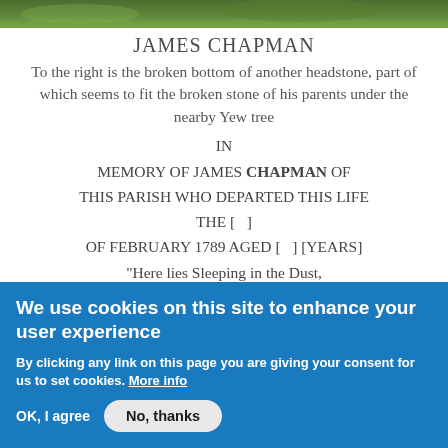[Figure (photo): Partial view of a grassy churchyard with green grass and headstones]
JAMES CHAPMAN
To the right is the broken bottom of another headstone, part of which seems to fit the broken stone of his parents under the nearby Yew tree
IN
MEMORY OF JAMES CHAPMAN OF THIS PARISH WHO DEPARTED THIS LIFE THE [   ] OF FEBRUARY 1789 AGED [   ] [YEARS]
"Here lies Sleeping in the Dust,
Till the Resurrection of the Just
We use cookies on this site to enhance your user experience
By clicking any link on this page you are giving your consent for us to set cookies. More info
OK, I agree   No, thanks